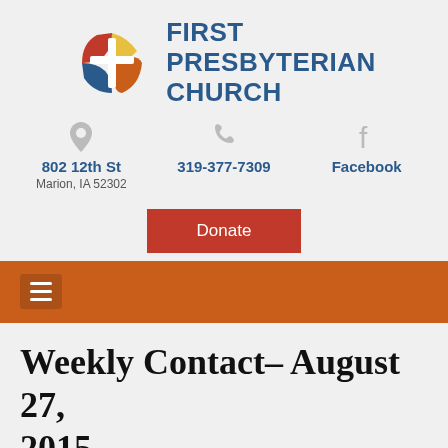[Figure (logo): First Presbyterian Church logo with colorful cross/person symbol and blue text reading FIRST PRESBYTERIAN CHURCH]
802 12th St
Marion, IA 52302
319-377-7309
Facebook
Donate
Navigation menu bar
Weekly Contact– August 27, 2015